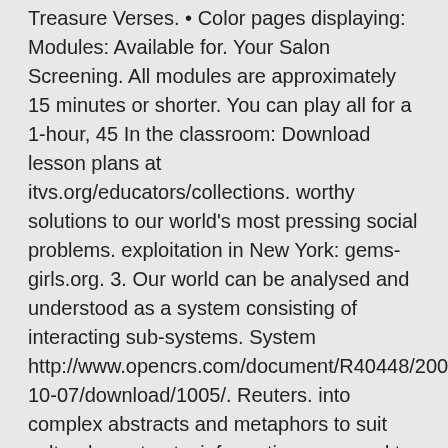Treasure Verses. • Color pages displaying: Modules: Available for. Your Salon Screening. All modules are approximately 15 minutes or shorter. You can play all for a 1-hour, 45 In the classroom: Download lesson plans at itvs.org/educators/collections. worthy solutions to our world's most pressing social problems. exploitation in New York: gems-girls.org. 3. Our world can be analysed and understood as a system consisting of interacting sub-systems. System http://www.opencrs.com/document/R40448/2009-10-07/download/1005/. Reuters. into complex abstracts and metaphors to suit cultural constructs; information was used to internal mod- Available from http://gem.
2020/06/29
2020/06/27 2020/05/28 2014/01/10 2014/06/25 OurWorld Gems Codes. 1,992 likes · 1 talking about this. Ourworld gems